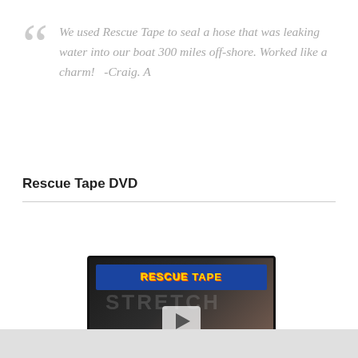We used Rescue Tape to seal a hose that was leaking water into our boat 300 miles off-shore. Worked like a charm!    -Craig. A
Rescue Tape DVD
[Figure (photo): A monitor/TV screen displaying the Rescue Tape DVD video, with a play button overlay. In front of the monitor is a product box and DVD disc for Rescue Tape.]